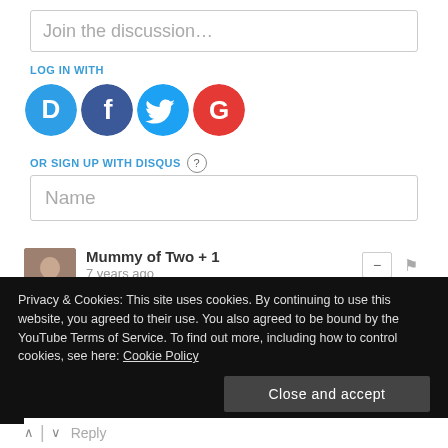Join the discussion...
LOG IN WITH
[Figure (logo): Social login icons: Disqus (blue circle with D), Facebook (dark blue circle with f), Twitter (light blue circle with bird), Google (red circle with G)]
OR SIGN UP WITH DISQUS ?
Name
Mummy of Two + 1
7 years ago
Oh I love the idea of these! Giant crumpets, genius!
Privacy & Cookies: This site uses cookies. By continuing to use this website, you agreed to their use. You also agreed to be bound by the YouTube Terms of Service. To find out more, including how to control cookies, see here: Cookie Policy
Close and accept
Reply